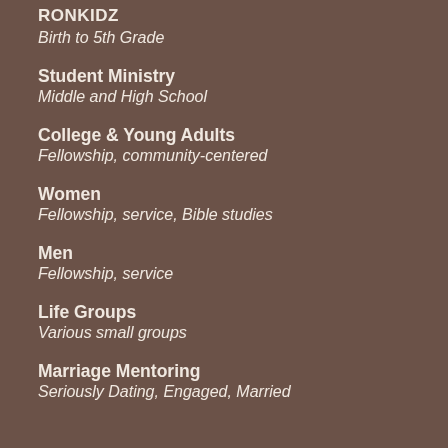RONKIDZ
Birth to 5th Grade
Student Ministry
Middle and High School
College & Young Adults
Fellowship, community-centered
Women
Fellowship, service, Bible studies
Men
Fellowship, service
Life Groups
Various small groups
Marriage Mentoring
Seriously Dating, Engaged, Married